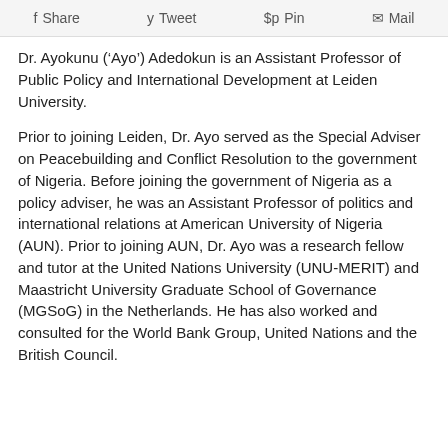f Share   y Tweet   @ Pin   Mail
Dr. Ayokunu (‘Ayo’) Adedokun is an Assistant Professor of Public Policy and International Development at Leiden University.
Prior to joining Leiden, Dr. Ayo served as the Special Adviser on Peacebuilding and Conflict Resolution to the government of Nigeria. Before joining the government of Nigeria as a policy adviser, he was an Assistant Professor of politics and international relations at American University of Nigeria (AUN). Prior to joining AUN, Dr. Ayo was a research fellow and tutor at the United Nations University (UNU-MERIT) and Maastricht University Graduate School of Governance (MGSoG) in the Netherlands. He has also worked and consulted for the World Bank Group, United Nations and the British Council.